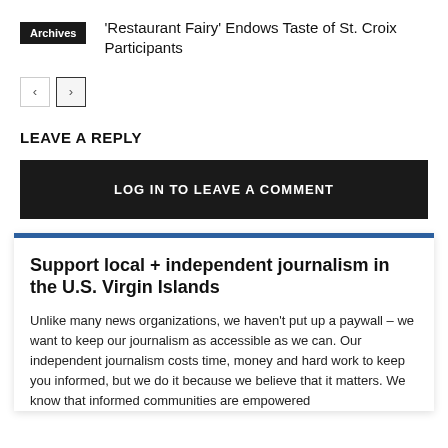Archives
'Restaurant Fairy' Endows Taste of St. Croix Participants
[Figure (other): Navigation buttons: left arrow and right arrow pagination controls]
LEAVE A REPLY
LOG IN TO LEAVE A COMMENT
Support local + independent journalism in the U.S. Virgin Islands
Unlike many news organizations, we haven't put up a paywall – we want to keep our journalism as accessible as we can. Our independent journalism costs time, money and hard work to keep you informed, but we do it because we believe that it matters. We know that informed communities are empowered